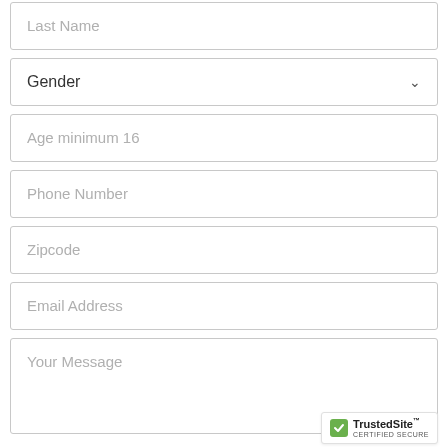Last Name
Gender
Age minimum 16
Phone Number
Zipcode
Email Address
Your Message
[Figure (logo): TrustedSite CERTIFIED SECURE badge with green checkmark]